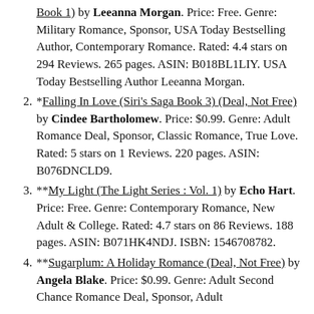Book 1) by Leeanna Morgan. Price: Free. Genre: Military Romance, Sponsor, USA Today Bestselling Author, Contemporary Romance. Rated: 4.4 stars on 294 Reviews. 265 pages. ASIN: B018BL1LIY. USA Today Bestselling Author Leeanna Morgan.
*Falling In Love (Siri's Saga Book 3) (Deal, Not Free) by Cindee Bartholomew. Price: $0.99. Genre: Adult Romance Deal, Sponsor, Classic Romance, True Love. Rated: 5 stars on 1 Reviews. 220 pages. ASIN: B076DNCLD9.
**My Light (The Light Series : Vol. 1) by Echo Hart. Price: Free. Genre: Contemporary Romance, New Adult & College. Rated: 4.7 stars on 86 Reviews. 188 pages. ASIN: B071HK4NDJ. ISBN: 1546708782.
**Sugarplum: A Holiday Romance (Deal, Not Free) by Angela Blake. Price: $0.99. Genre: Adult Second Chance Romance Deal, Sponsor, Adult